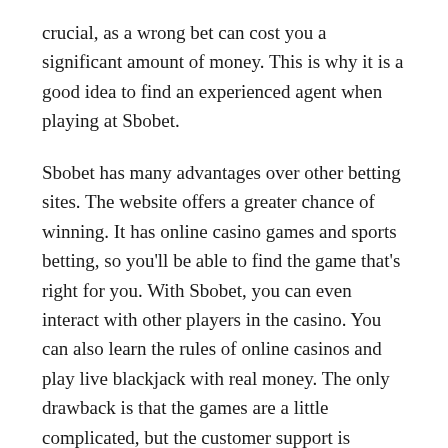crucial, as a wrong bet can cost you a significant amount of money. This is why it is a good idea to find an experienced agent when playing at Sbobet.
Sbobet has many advantages over other betting sites. The website offers a greater chance of winning. It has online casino games and sports betting, so you'll be able to find the game that's right for you. With Sbobet, you can even interact with other players in the casino. You can also learn the rules of online casinos and play live blackjack with real money. The only drawback is that the games are a little complicated, but the customer support is excellent.
Sbobet has a friendly, professional customer support team. They're available by phone or email 24 hours a day. They're always available to answer any questions and provide assistance with their services. SBObet also